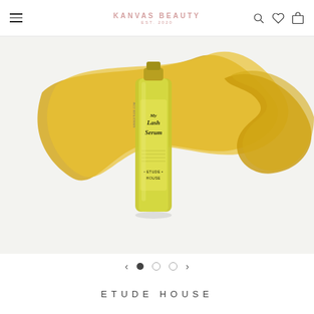KANVAS BEAUTY EST. 2020
[Figure (photo): Etude House lash serum product bottle with golden serum texture swirl on white/light gray background]
[Figure (other): Carousel navigation with left arrow, three dots (first filled, two empty circles), and right arrow]
ETUDE HOUSE